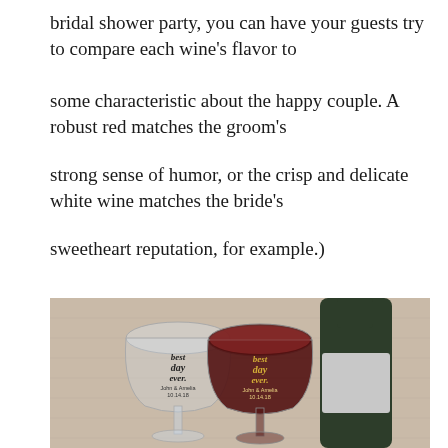bridal shower party, you can have your guests try to compare each wine's flavor to
some characteristic about the happy couple. A robust red matches the groom's
strong sense of humor, or the crisp and delicate white wine matches the bride's
sweetheart reputation, for example.)
[Figure (photo): Two personalized wine glasses labeled 'best day ever. John & Amelia 10.14.18' — one empty/clear and one filled with red wine — in front of a dark wine bottle with a light gray label, on a beige linen background.]